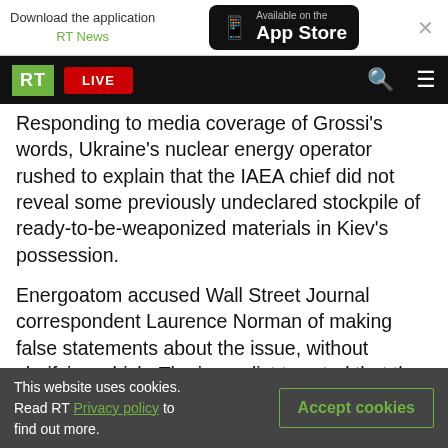Download the application RT News | Available on the App Store
RT LIVE
Responding to media coverage of Grossi's words, Ukraine's nuclear energy operator rushed to explain that the IAEA chief did not reveal some previously undeclared stockpile of ready-to-be-weaponized materials in Kiev's possession.
Energoatom accused Wall Street Journal correspondent Laurence Norman of making false statements about the issue, without clarifying which. The journalist tweeted that the amount of nuclear fuel disclosed by Grossi was “striking” and reported that the agency wanted “to be sure no
This website uses cookies. Read RT Privacy policy to find out more.
Accept cookies